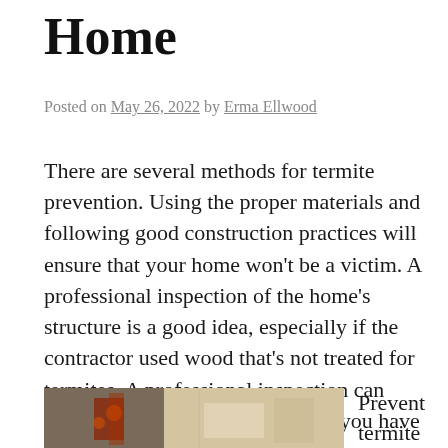Home
Posted on May 26, 2022 by Erma Ellwood
There are several methods for termite prevention. Using the proper materials and following good construction practices will ensure that your home won't be a victim. A professional inspection of the home's structure is a good idea, especially if the contractor used wood that's not treated for termites. A professional inspection can detect hidden termite colonies. If you have concerns, Visit Website for help.
[Figure (photo): Photo of termite damage on wood]
Prevent termite